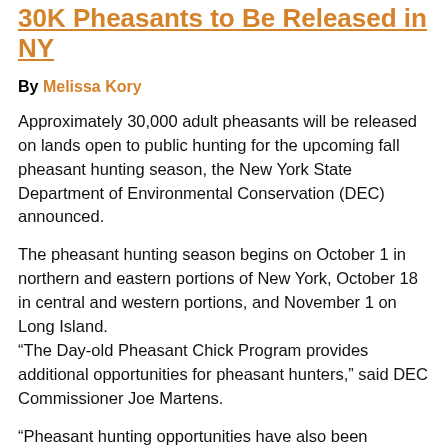30K Pheasants to Be Released in NY
By Melissa Kory
Approximately 30,000 adult pheasants will be released on lands open to public hunting for the upcoming fall pheasant hunting season, the New York State Department of Environmental Conservation (DEC) announced.
The pheasant hunting season begins on October 1 in northern and eastern portions of New York, October 18 in central and western portions, and November 1 on Long Island.
“The Day-old Pheasant Chick Program provides additional opportunities for pheasant hunters,” said DEC Commissioner Joe Martens.
“Pheasant hunting opportunities have also been